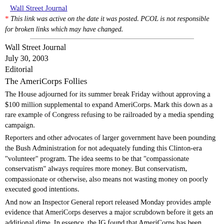Wall Street Journal
* This link was active on the date it was posted. PCOL is not responsible for broken links which may have changed.
Wall Street Journal
July 30, 2003
Editorial
The AmeriCorps Follies
The House adjourned for its summer break Friday without approving a $100 million supplemental to expand AmeriCorps. Mark this down as a rare example of Congress refusing to be railroaded by a media spending campaign.
Reporters and other advocates of larger government have been pounding the Bush Administration for not adequately funding this Clinton-era "volunteer" program. The idea seems to be that "compassionate conservatism" always requires more money. But conservatism, compassionate or otherwise, also means not wasting money on poorly executed good intentions.
And now an Inspector General report released Monday provides ample evidence that AmeriCorps deserves a major scrubdown before it gets an additional dime. In essence, the IG found that AmeriCorps has been recruiting more volunteers than it can afford. This is a violation of the Anti-